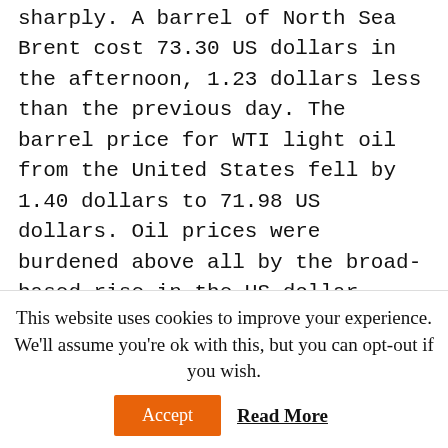sharply. A barrel of North Sea Brent cost 73.30 US dollars in the afternoon, 1.23 dollars less than the previous day. The barrel price for WTI light oil from the United States fell by 1.40 dollars to 71.98 US dollars. Oil prices were burdened above all by the broad-based rise in the US dollar.
The gold price rose back above the $1,800 mark, gaining over $8 to $1,804 per troy ounce.
Cryptocurrencies continue their sideways
This website uses cookies to improve your experience. We'll assume you're ok with this, but you can opt-out if you wish.